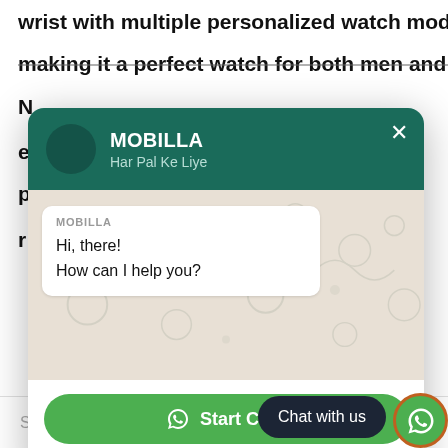wrist with multiple personalized watch modes and bold colors
making it a perfect watch for both men and women on all days
[Figure (screenshot): WhatsApp chat widget popup from MOBILLA brand ('Har Pal Ke Liye') showing a chat bubble with 'Hi, there! How can I help you?' message, a green Start Chat button, and wati.io credit. A dark 'Chat with us' pill button and a WhatsApp green circle icon are visible at the bottom right.]